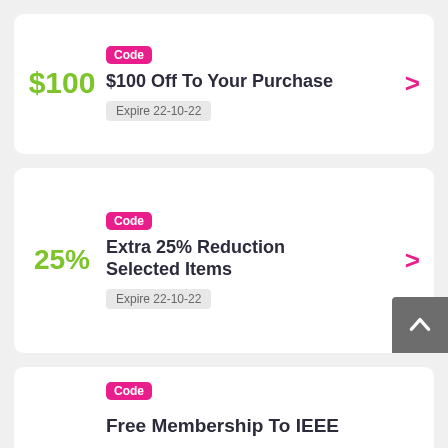$100
Code
$100 Off To Your Purchase
Expire 22-10-22
25%
Code
Extra 25% Reduction Selected Items
Expire 22-10-22
Code
Free Membership To IEEE